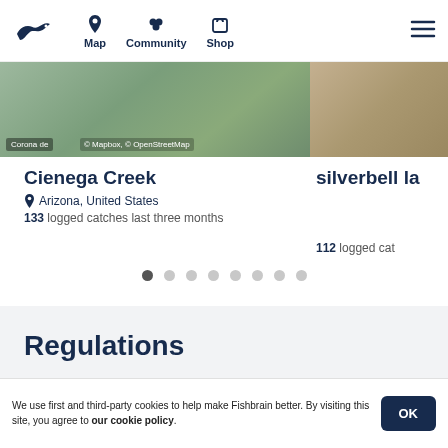Fishbrain navigation — Map, Community, Shop
[Figure (screenshot): Map thumbnail of Cienega Creek area with Mapbox / OpenStreetMap attribution and partial map of second location]
Cienega Creek
Arizona, United States
133 logged catches last three months
silverbell la
112 logged cat
[Figure (other): Carousel pagination dots — 8 dots, first one active]
Regulations
We use first and third-party cookies to help make Fishbrain better. By visiting this site, you agree to our cookie policy.